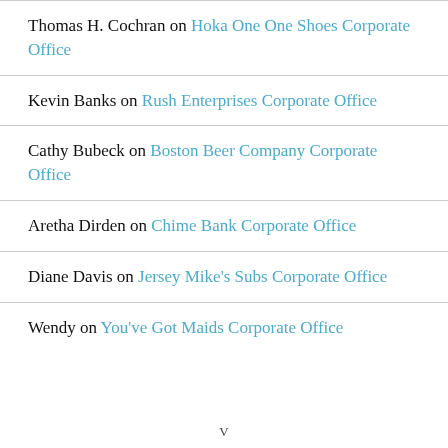Thomas H. Cochran on Hoka One One Shoes Corporate Office
Kevin Banks on Rush Enterprises Corporate Office
Cathy Bubeck on Boston Beer Company Corporate Office
Aretha Dirden on Chime Bank Corporate Office
Diane Davis on Jersey Mike's Subs Corporate Office
Wendy on You've Got Maids Corporate Office
V